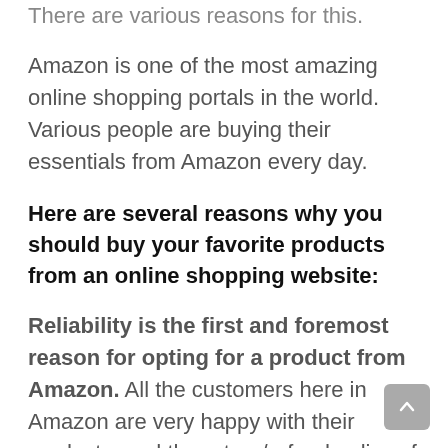There are various reasons for this.
Amazon is one of the most amazing online shopping portals in the world. Various people are buying their essentials from Amazon every day.
Here are several reasons why you should buy your favorite products from an online shopping website:
Reliability is the first and foremost reason for opting for a product from Amazon. All the customers here in Amazon are very happy with their products, and the return/refund policy of the website. Amazon has built this reliability with their customers over the years.
It is the first reason to opt for your favorite